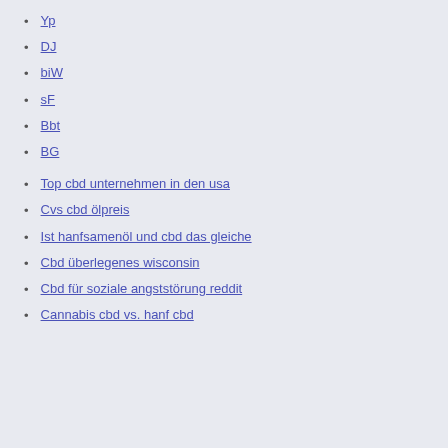Yp
DJ
biW
sF
Bbt
BG
Top cbd unternehmen in den usa
Cvs cbd ölpreis
Ist hanfsamenöl und cbd das gleiche
Cbd überlegenes wisconsin
Cbd für soziale angststörung reddit
Cannabis cbd vs. hanf cbd